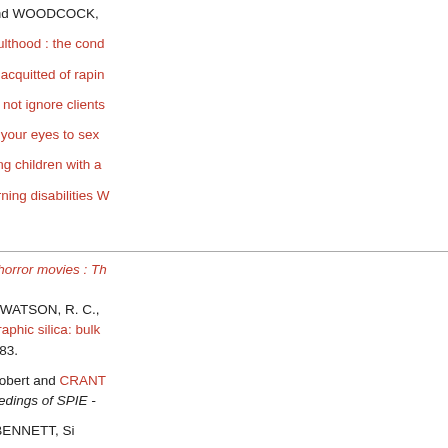Stephen A.R., BALL, Linden J. and WOODCOCK,
AYLOTT, Jill (2000). Autism in adulthood : the cond
AYLOTT, Jill (2000). Care worker acquitted of rapin
AYLOTT, Jill (2000). Nurses must not ignore clients
AYLOTT, Jill (2000). Stop closing your eyes to sex
AYLOTT, Jill (2000). Understanding children with a
AYLOTT, Jill (2000). The new learning disabilities W
B
BAKER, Shelley F. (2000). Body-horror movies : Th
BARRETT, D. A., BROWN, V. A., WATSON, R. C., trace metal content of chromatographic silica: bulk chromatography A, 905 (1-2), 69-83.
BARROS, Sara O., STEVENS, Robert and CRANT novel geometry structures. Proceedings of SPIE -
BEAK, Sara DAVIDS, Keith and BENNETT, Si